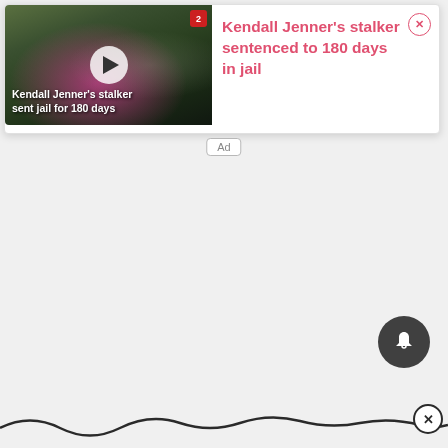[Figure (screenshot): Video thumbnail showing Kendall Jenner in pink dress at outdoor event, with play button overlay and text 'Kendall Jenner's stalker sent jail for 180 days']
Kendall Jenner's stalker sentenced to 180 days in jail
Ad
[Figure (other): Bell notification icon button (dark circular button with bell icon)]
[Figure (other): Wavy decorative line at bottom of page with close (X) circle button]